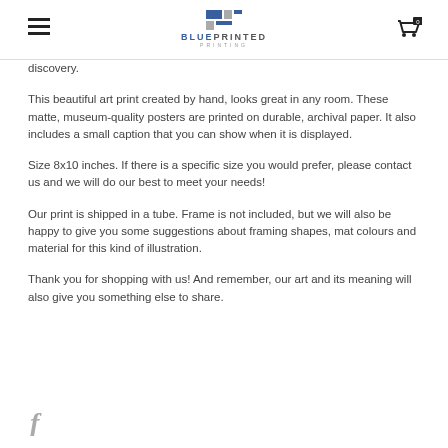BLUEPRINTED PRINTING — navigation header with logo and cart
discovery.
This beautiful art print created by hand, looks great in any room. These matte, museum-quality posters are printed on durable, archival paper. It also includes a small caption that you can show when it is displayed.
Size 8x10 inches. If there is a specific size you would prefer, please contact us and we will do our best to meet your needs!
Our print is shipped in a tube. Frame is not included, but we will also be happy to give you some suggestions about framing shapes, mat colours and material for this kind of illustration.
Thank you for shopping with us! And remember, our art and its meaning will also give you something else to share.
[Figure (logo): Facebook 'f' icon in grey]